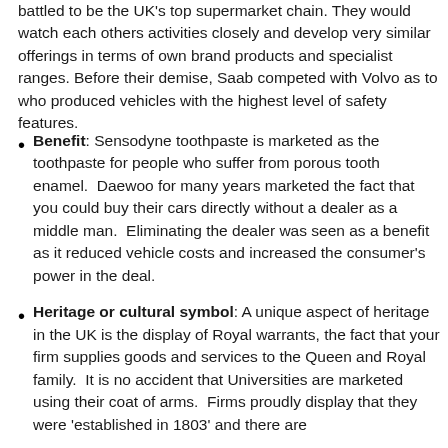battled to be the UK's top supermarket chain. They would watch each others activities closely and develop very similar offerings in terms of own brand products and specialist ranges. Before their demise, Saab competed with Volvo as to who produced vehicles with the highest level of safety features.
Benefit: Sensodyne toothpaste is marketed as the toothpaste for people who suffer from porous tooth enamel.  Daewoo for many years marketed the fact that you could buy their cars directly without a dealer as a middle man.  Eliminating the dealer was seen as a benefit as it reduced vehicle costs and increased the consumer's power in the deal.
Heritage or cultural symbol: A unique aspect of heritage in the UK is the display of Royal warrants, the fact that your firm supplies goods and services to the Queen and Royal family. It is no accident that Universities are marketed using their coat of arms. Firms proudly display that they were 'established in 1803' and there are